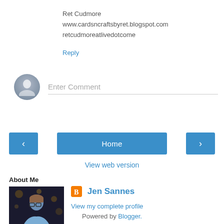Ret Cudmore
www.cardsncraftsbyret.blogspot.com
retcudmoreatlivedotcome
Reply
[Figure (other): Comment input area with user avatar and Enter Comment placeholder text]
[Figure (other): Navigation buttons: left arrow, Home, right arrow]
View web version
About Me
[Figure (photo): Photo of Jen Sannes, a woman with glasses in a blue shirt]
Jen Sannes
View my complete profile
Powered by Blogger.